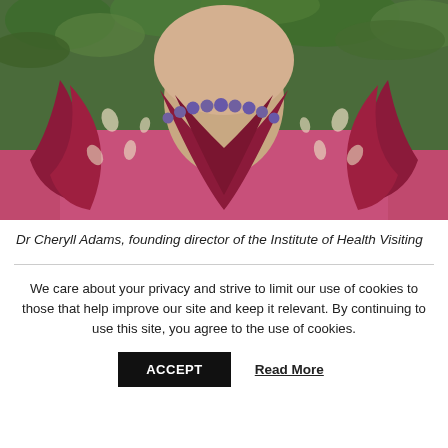[Figure (photo): Close-up photo of a woman wearing a dark pink/magenta top, a burgundy patterned scarf with cream paisley designs, and a purple pearl necklace. Green leafy background visible above.]
Dr Cheryll Adams, founding director of the Institute of Health Visiting
We care about your privacy and strive to limit our use of cookies to those that help improve our site and keep it relevant. By continuing to use this site, you agree to the use of cookies.